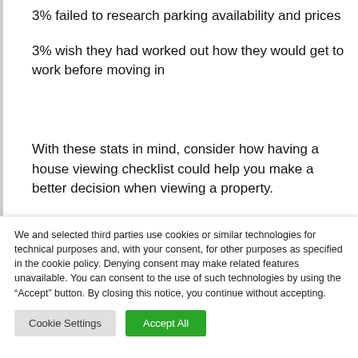3% failed to research parking availability and prices
3% wish they had worked out how they would get to work before moving in
With these stats in mind, consider how having a house viewing checklist could help you make a better decision when viewing a property.
We and selected third parties use cookies or similar technologies for technical purposes and, with your consent, for other purposes as specified in the cookie policy. Denying consent may make related features unavailable. You can consent to the use of such technologies by using the “Accept” button. By closing this notice, you continue without accepting.